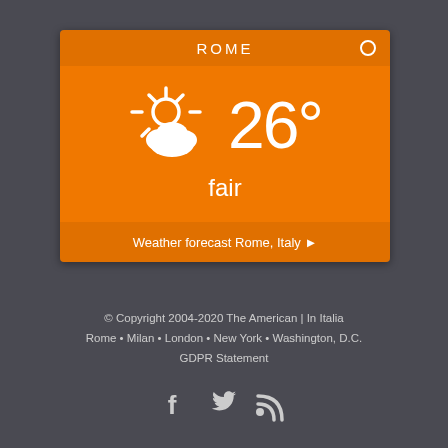[Figure (infographic): Weather widget for Rome showing partly cloudy/fair weather at 26 degrees Celsius with orange background and a sun-behind-cloud icon]
Weather forecast Rome, Italy ▶
© Copyright 2004-2020 The American | In Italia
Rome • Milan • London • New York • Washington, D.C.
GDPR Statement
[Figure (infographic): Social media icons: Facebook (f), Twitter (bird), RSS feed]